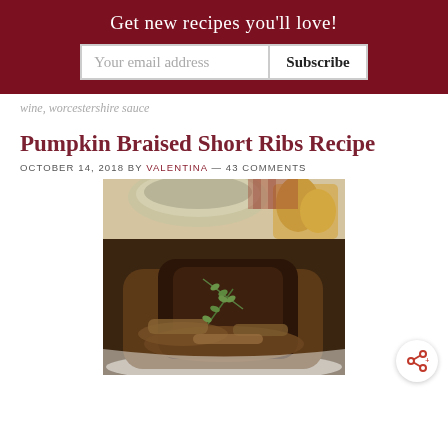Get new recipes you'll love!
wine, worcestershire sauce
Pumpkin Braised Short Ribs Recipe
OCTOBER 14, 2018 BY VALENTINA — 43 COMMENTS
[Figure (photo): A braised short rib dish served on a white plate with rich brown sauce and fresh thyme garnish, with a patterned bowl and decorative cookies visible in the background.]